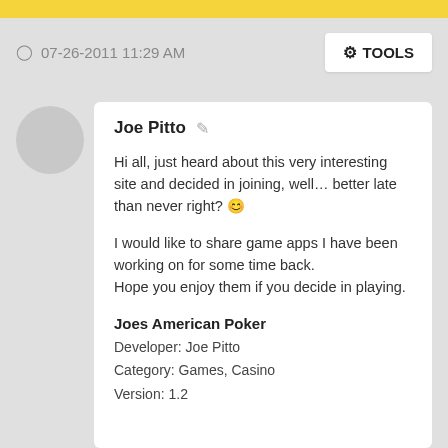07-26-2011 11:29 AM   TOOLS
Joe Pitto
Hi all, just heard about this very interesting site and decided in joining, well… better late than never right? 😊

I would like to share game apps I have been working on for some time back.
Hope you enjoy them if you decide in playing.

Joes American Poker
Developer: Joe Pitto
Category: Games, Casino
Version: 1.2